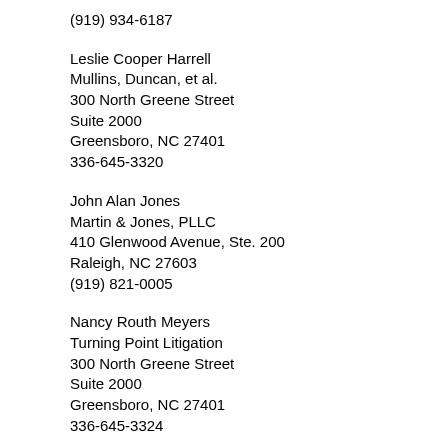(919) 934-6187
Leslie Cooper Harrell
Mullins, Duncan, et al.
300 North Greene Street
Suite 2000
Greensboro, NC 27401
336-645-3320
John Alan Jones
Martin & Jones, PLLC
410 Glenwood Avenue, Ste. 200
Raleigh, NC 27603
(919) 821-0005
Nancy Routh Meyers
Turning Point Litigation
300 North Greene Street
Suite 2000
Greensboro, NC 27401
336-645-3324
Allison Overbay Mullins
Turning Point Litigation
300 North Greene Street
Suite 2000